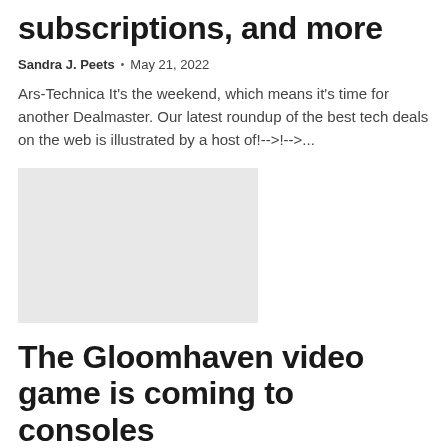subscriptions, and more
Sandra J. Peets • May 21, 2022
Ars-Technica It's the weekend, which means it's time for another Dealmaster. Our latest roundup of the best tech deals on the web is illustrated by a host of!-->!-->...
[Figure (photo): Placeholder thumbnail image with light gray background]
The Gloomhaven video game is coming to consoles
Sandra J. Peets • May 21, 2022